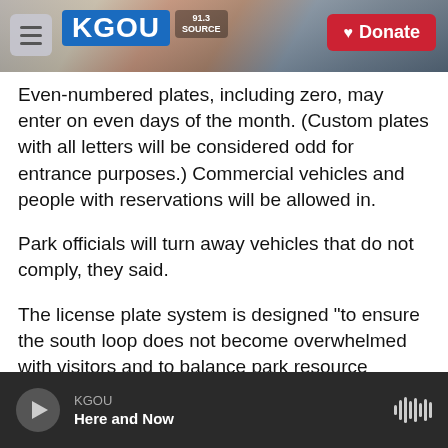[Figure (screenshot): KGOU website header with hamburger menu, KGOU logo, city background photo, and red Donate button]
Even-numbered plates, including zero, may enter on even days of the month. (Custom plates with all letters will be considered odd for entrance purposes.) Commercial vehicles and people with reservations will be allowed in.
Park officials will turn away vehicles that do not comply, they said.
The license plate system is designed "to ensure the south loop does not become overwhelmed with visitors and to balance park resource protection and economic interests of surrounding communities," officials wrote.
KGOU — Here and Now